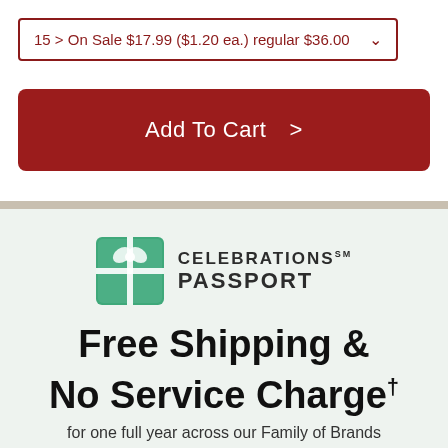15 > On Sale $17.99 ($1.20 ea.) regular $36.00
Add To Cart >
[Figure (logo): Celebrations Passport logo with green gift box icon and text 'CELEBRATIONS PASSPORT']
Free Shipping & No Service Charge†
for one full year across our Family of Brands